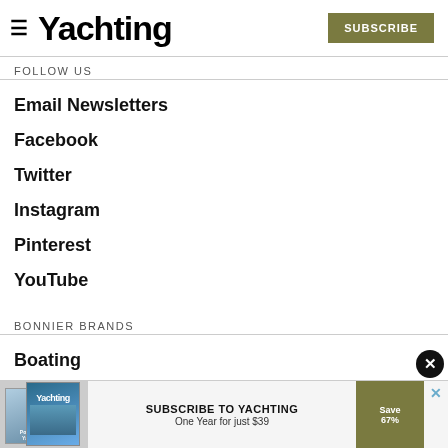Yachting | SUBSCRIBE
FOLLOW US
Email Newsletters
Facebook
Twitter
Instagram
Pinterest
YouTube
BONNIER BRANDS
Boating
Cruising World
Florida...
Islands
[Figure (screenshot): Advertisement banner: Subscribe to Yachting - One Year for just $39, Save 67%]